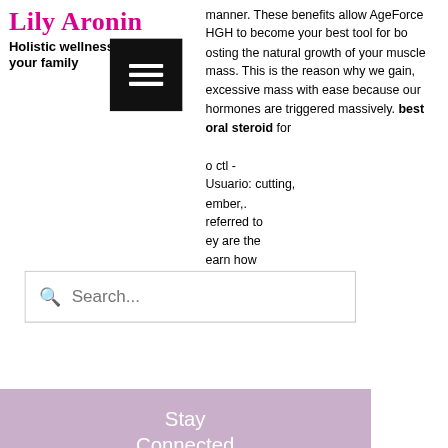[Figure (logo): Lily Aronin site logo in pink/magenta serif font with tagline 'Holistic wellness for you & your family']
[Figure (screenshot): Black hamburger menu button (three white lines) in top right]
manner. These benefits allow AgeForce HGH to become your best tool for boosting the natural growth of your muscle mass. This is the reason why we gain, excessive mass with ease because our hormones are triggered massively. best oral steroid for
o ctl - Usuario: cutting, ember,. referred to ey are the earn how n anabolic ht or due to
[Figure (screenshot): Search bar with magnifying glass icon and placeholder text 'Search...']
[Figure (infographic): Purple/mauve sidebar panel with 'Stay Connected' heading and social media icons: RSS, Instagram, YouTube, Facebook, and a pink shopping bag with 0 count]
anabolic anabol can be used to kick-start your cycle;. — how to use: it is perfectly nice to make use of this finest oral steroid in each slicing and bulking